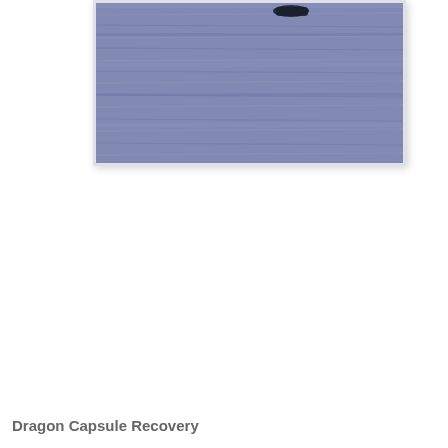[Figure (photo): Aerial or distant photograph of Dragon capsule recovery at sea. The image shows a dark object (the capsule) on a blue-grey ocean surface with choppy water texture.]
Dragon Capsule Recovery